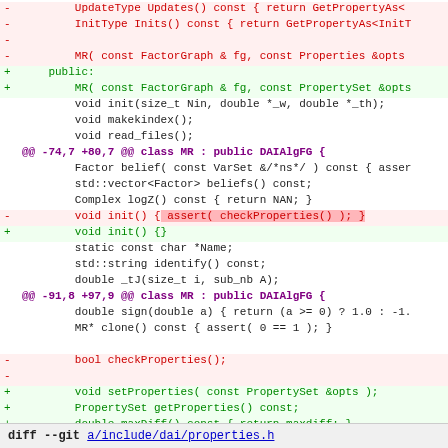[Figure (screenshot): Code diff showing changes to a C++ class MR with removed and added lines in red and green, including hunk headers in purple, a highlighted assertion removal, and a footer showing git diff for properties.h]